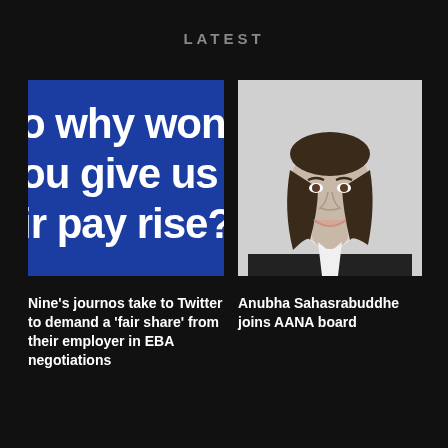LATEST
[Figure (photo): Blue banner image with white bold text reading 'o why won't you give us a ir pay rise?' — a protest or campaign image related to pay negotiations]
[Figure (photo): Black and white headshot portrait of a woman named Anubha Sahasrabuddhe, smiling, wearing a dark blazer]
Nine's journos take to Twitter to demand a 'fair share' from their employer in EBA negotiations
Anubha Sahasrabuddhe joins AANA board